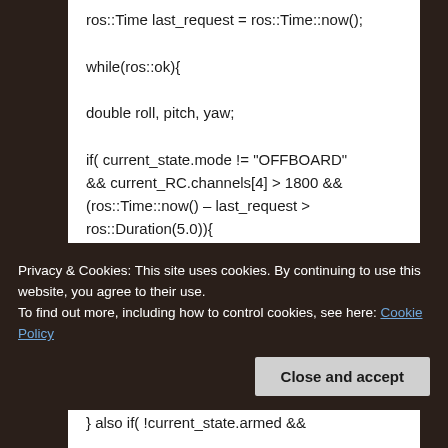ros::Time last_request = ros::Time::now();

while(ros::ok){

double roll, pitch, yaw;

if( current_state.mode != "OFFBOARD" && current_RC.channels[4] > 1800 && (ros::Time::now() – last_request > ros::Duration(5.0)){
if( set_mode_client.call(offb_set_mode) && offb_set_mode.response.mode_sent){

ROS_INFO("Offboard
Privacy & Cookies: This site uses cookies. By continuing to use this website, you agree to their use.
To find out more, including how to control cookies, see here: Cookie Policy
} also if( !current_state.armed &&